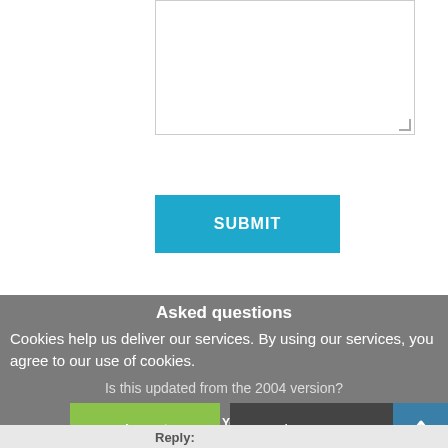[Figure (screenshot): A textarea input box with resize handle at bottom right, partially visible at top of page]
[Figure (screenshot): A teal/blue SUBMIT button]
Asked questions
Cookies help us deliver our services. By using our services, you agree to our use of cookies.
Is this updated from the 2004 version?
[Figure (screenshot): Cookie consent overlay with Accept (green) and Learn more (dark) buttons, and back-to-top arrow button]
ful? Yes No (0/0)
Reply: